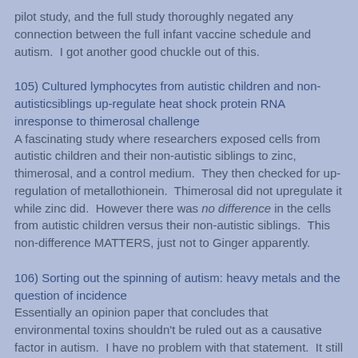pilot study, and the full study thoroughly negated any connection between the full infant vaccine schedule and autism.  I got another good chuckle out of this.
105) Cultured lymphocytes from autistic children and non-autisticsiblings up-regulate heat shock protein RNA inresponse to thimerosal challenge
A fascinating study where researchers exposed cells from autistic children and their non-autistic siblings to zinc, thimerosal, and a control medium.  They then checked for up-regulation of metallothionein.  Thimerosal did not upregulate it while zinc did.  However there was no difference in the cells from autistic children versus their non-autistic siblings.  This non-difference MATTERS, just not to Ginger apparently.
106) Sorting out the spinning of autism: heavy metals and the question of incidence
Essentially an opinion paper that concludes that environmental toxins shouldn't be ruled out as a causative factor in autism.  I have no problem with that statement.  It still has nothing to do with vaccines.